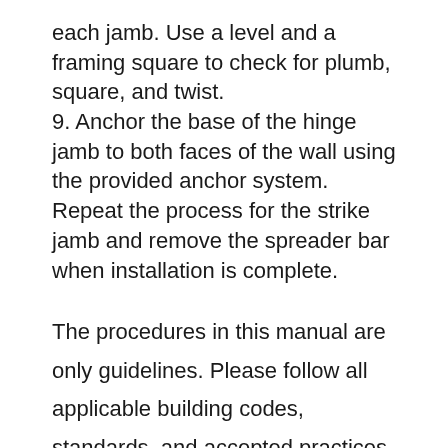each jamb. Use a level and a framing square to check for plumb, square, and twist. 9. Anchor the base of the hinge jamb to both faces of the wall using the provided anchor system. Repeat the process for the strike jamb and remove the spreader bar when installation is complete.
The procedures in this manual are only guidelines. Please follow all applicable building codes, standards, and accepted practices specific to your geographic location.